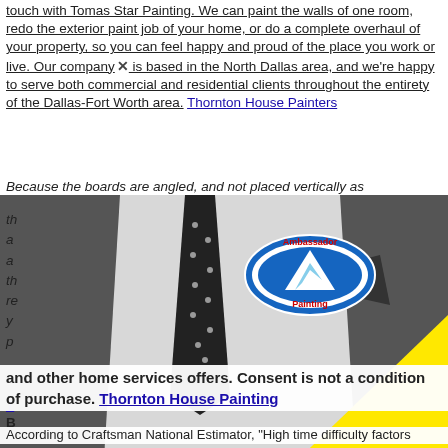touch with Tomas Star Painting. We can paint the walls of one room, redo the exterior paint job of your home, or do a complete overhaul of your property, so you can feel happy and proud of the place you work or live. Our company is based in the North Dallas area, and we're happy to serve both commercial and residential clients throughout the entirety of the Dallas-Fort Worth area. Thornton House Painters
Because the boards are angled, and not placed vertically as th...
[Figure (photo): Black and white photo of a man in a suit with polka dot tie and pocket square, with the Ambassador Painting logo (blue oval with mountain) visible on his jacket. A large yellow triangle overlays the lower-right portion of the image.]
and other home services offers. Consent is not a condition of purchase. Thornton House Painting
According to Craftsman National Estimator, "High time difficulty factors for surface preparation and painting. Painting exterior doors is probably...